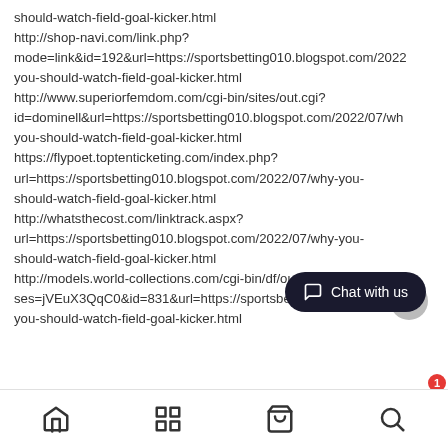should-watch-field-goal-kicker.html
http://shop-navi.com/link.php?
mode=link&id=192&url=https://sportsbetting010.blogspot.com/2022
you-should-watch-field-goal-kicker.html
http://www.superiorfemdom.com/cgi-bin/sites/out.cgi?
id=dominell&url=https://sportsbetting010.blogspot.com/2022/07/wh
you-should-watch-field-goal-kicker.html
https://flypoet.toptenticketing.com/index.php?
url=https://sportsbetting010.blogspot.com/2022/07/why-you-should-watch-field-goal-kicker.html
http://whatsthecost.com/linktrack.aspx?
url=https://sportsbetting010.blogspot.com/2022/07/why-you-should-watch-field-goal-kicker.html
http://models.world-collections.com/cgi-bin/df/out.cgi?
ses=jVEuX3QqC0&id=831&url=https://sportsbetting010.blogspot.com
you-should-watch-field-goal-kicker.html
[Figure (screenshot): Mobile app bottom navigation bar with home icon, grid/menu icon, shopping bag icon, and search icon. Also shows a dark 'Chat with us' button with notification badge showing 1, and a grey scroll-up arrow button.]